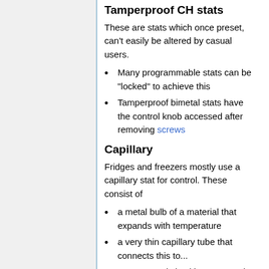Tamperproof CH stats
These are stats which once preset, can't easily be altered by casual users.
Many programmable stats can be "locked" to achieve this
Tamperproof bimetal stats have the control knob accessed after removing screws
Capillary
Fridges and freezers mostly use a capillary stat for control. These consist of
a metal bulb of a material that expands with temperature
a very thin capillary tube that connects this to...
a sprung switch with user setpoint adjustment
The purpose of these is to enable the